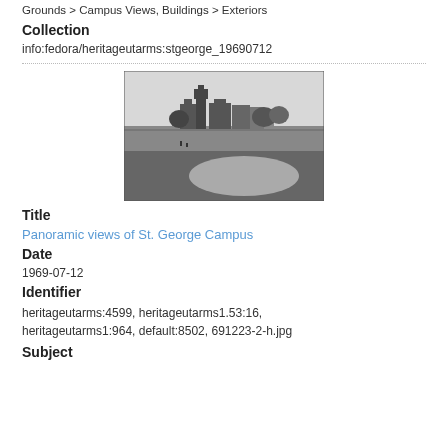Grounds > Campus Views, Buildings > Exteriors
Collection
info:fedora/heritageutarms:stgeorge_19690712
[Figure (photo): Black and white panoramic photograph showing St. George Campus buildings on the horizon with open grounds in the foreground.]
Title
Panoramic views of St. George Campus
Date
1969-07-12
Identifier
heritageutarms:4599, heritageutarms1.53:16, heritageutarms1:964, default:8502, 691223-2-h.jpg
Subject